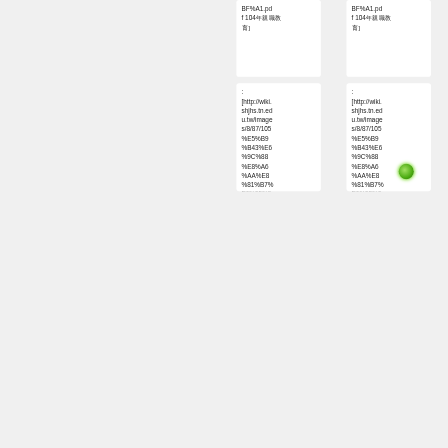BF%A1.pdf 104[CJK characters]
BF%A1.pdf 104[CJK characters]
: [http://wiki.shjhs.tn.edu.tw/images/8/87/105%E5%B9%B43%E6%9C%88%E8%A6%AA%E8%81%B7%E6%95%99%99%E8%82%B2%E5%BA%A7%E8%AB%B8...
: [http://wiki.shjhs.tn.edu.tw/images/8/87/105%E5%B9%B43%E6%9C%88%E8%A6%AA%E8%81%B7%E6%95%99%99%E8%82%B2%E5%BA%A7%E8%AB%B8...